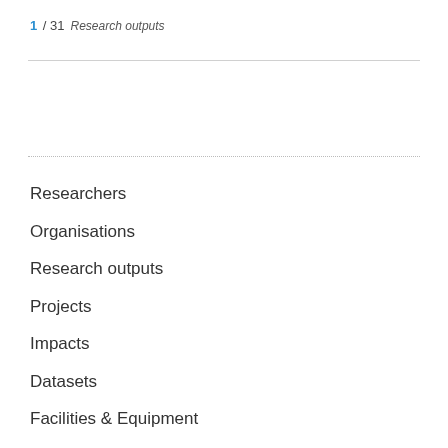1 / 31 Research outputs
Researchers
Organisations
Research outputs
Projects
Impacts
Datasets
Facilities & Equipment
Activities